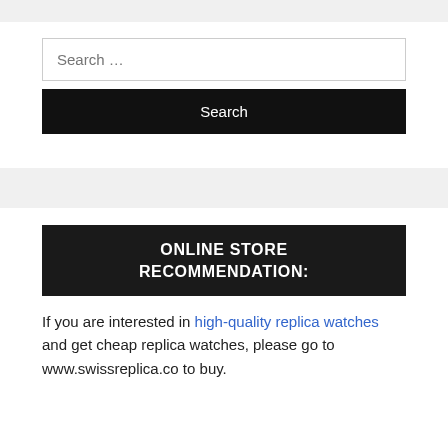[Figure (screenshot): Search widget with input field and Search button]
ONLINE STORE RECOMMENDATION:
If you are interested in high-quality replica watches and get cheap replica watches, please go to www.swissreplica.co to buy.